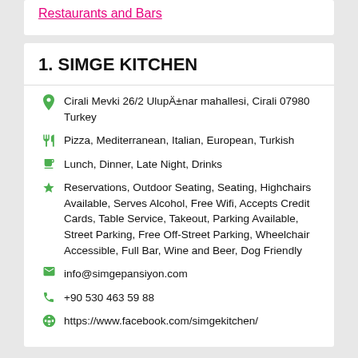Restaurants and Bars
1. SIMGE KITCHEN
Cirali Mevki 26/2 Ulupınar mahallesi, Cirali 07980 Turkey
Pizza, Mediterranean, Italian, European, Turkish
Lunch, Dinner, Late Night, Drinks
Reservations, Outdoor Seating, Seating, Highchairs Available, Serves Alcohol, Free Wifi, Accepts Credit Cards, Table Service, Takeout, Parking Available, Street Parking, Free Off-Street Parking, Wheelchair Accessible, Full Bar, Wine and Beer, Dog Friendly
info@simgepansiyon.com
+90 530 463 59 88
https://www.facebook.com/simgekitchen/